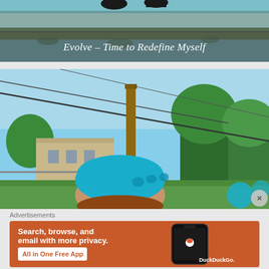[Figure (photo): Blog post thumbnail image showing legs/feet at top with text overlay 'Evolve – Time to Redefine Myself' on a semi-transparent dark background, over a grassy/wall scene]
Evolve – Time to Redefine Myself
[Figure (photo): Outdoor photo of a person wearing a blue helmet and sunglasses, looking up toward zip line cables against a blue sky with trees and a building in the background]
Advertisements
[Figure (screenshot): DuckDuckGo advertisement banner with orange background. Text: 'Search, browse, and email with more privacy. All in One Free App'. Shows a smartphone mockup with DuckDuckGo logo and 'DuckDuckGo.' text.]